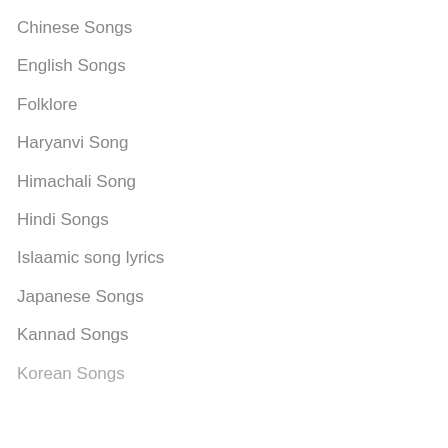Chinese Songs
English Songs
Folklore
Haryanvi Song
Himachali Song
Hindi Songs
Islaamic song lyrics
Japanese Songs
Kannad Songs
Korean Songs